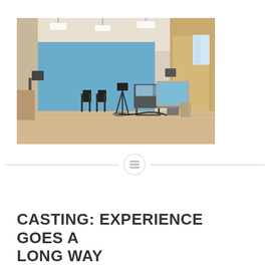[Figure (photo): Interior of a casting/film studio with a blue wall backdrop, camera on tripod, lighting equipment, folding chairs, monitor screens on a cart, and wooden floor]
CASTING: EXPERIENCE GOES A LONG WAY